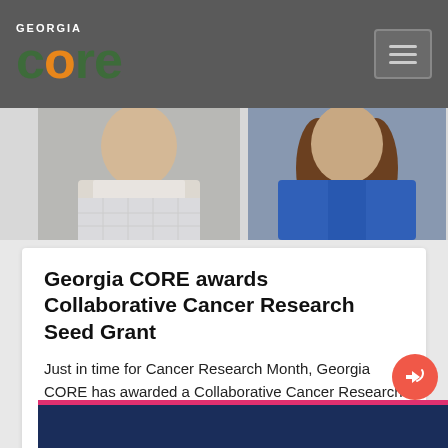GEORGIA CORE
[Figure (photo): Two headshot photos side by side: left photo shows a man in a checkered shirt, right photo shows a woman in a blue jacket with long brown hair]
Georgia CORE awards Collaborative Cancer Research Seed Grant
Just in time for Cancer Research Month, Georgia CORE has awarded a Collaborative Cancer Research Seed Grant for $100,000 from the Georgia Cancer Research Fund.
5/02/2022
[Figure (photo): Bottom portion of a dark navy blue banner with pink/red top border]